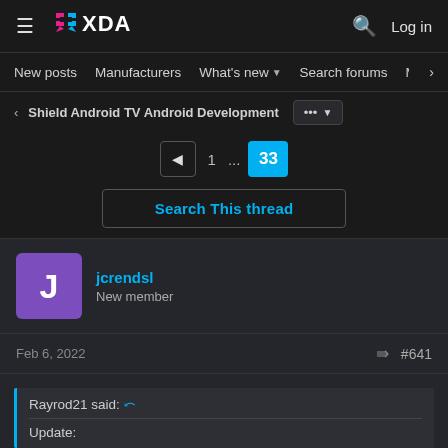XDA Developers — New posts | Manufacturers | What's new | Search forums | Members | Log in
Shield Android TV Android Development
1 ... 33
Search This thread
jcrendsl
New member
Feb 6, 2022 #641
Rayrod21 said:
Update: